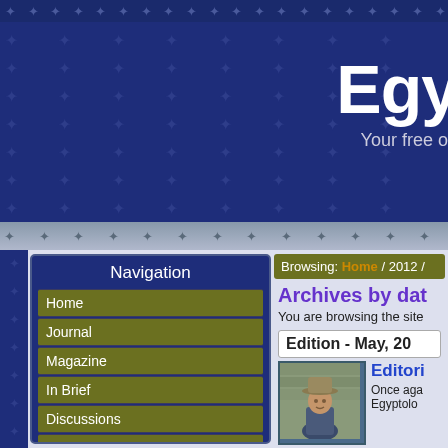Egy... Your free o...
Navigation
Home
Journal
Magazine
In Brief
Discussions
About
Participate
World of Hieroglyphs
Looting Database Archive
Browsing: Home / 2012 /
Archives by dat...
You are browsing the site...
Edition - May, 20...
[Figure (photo): Photo of a person wearing a hat, standing in front of a stone building]
Editori... Once aga... Egyptolo...